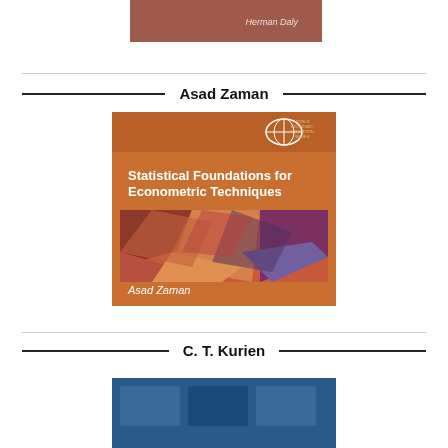[Figure (illustration): Partial view of Herman Daly book cover — brown/mauve background with author name 'Herman Daly' in white italic text, top portion only visible]
Asad Zaman
[Figure (illustration): Book cover: 'Statistical Foundations for Econometric Techniques' by Asad Zaman. Orange/brown background with white globe icon, title text in white, and a colorful geometric/cubist image in the lower half.]
C. T. Kurien
[Figure (illustration): Partial view of C. T. Kurien book cover — blue background, top portion only visible]